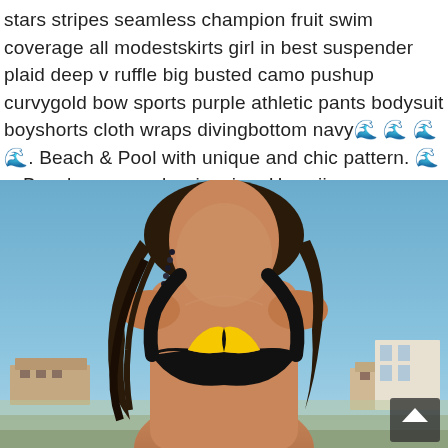stars stripes seamless champion fruit swim coverage all modestskirts girl in best suspender plaid deep v ruffle big busted camo pushup curvygold bow sports purple athletic pants bodysuit boyshorts cloth wraps divingbottom navy🌊🌊🌊🌊. Beach & Pool with unique and chic pattern. 🌊 ▲Beachwear, pool swimming, Hawaii.
[Figure (photo): A woman wearing a yellow and black bikini top, standing outdoors with a blue sky and buildings in the background. A small scroll-up button appears in the bottom right corner of the image.]